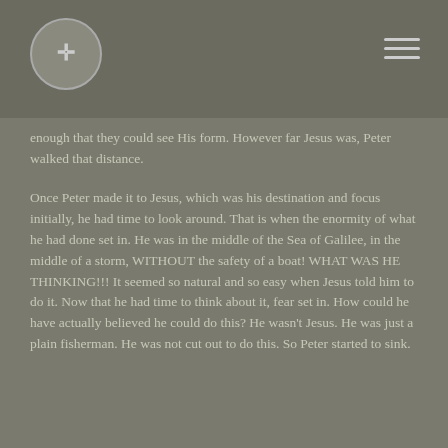[Figure (logo): Circular logo with a cross symbol in the top-left header area]
enough that they could see His form. However far Jesus was, Peter walked that distance.
Once Peter made it to Jesus, which was his destination and focus initially, he had time to look around. That is when the enormity of what he had done set in. He was in the middle of the Sea of Galilee, in the middle of a storm, WITHOUT the safety of a boat! WHAT WAS HE THINKING!!! It seemed so natural and so easy when Jesus told him to do it. Now that he had time to think about it, fear set in. How could he have actually believed he could do this? He wasn't Jesus. He was just a plain fisherman. He was not cut out to do this. So Peter started to sink.